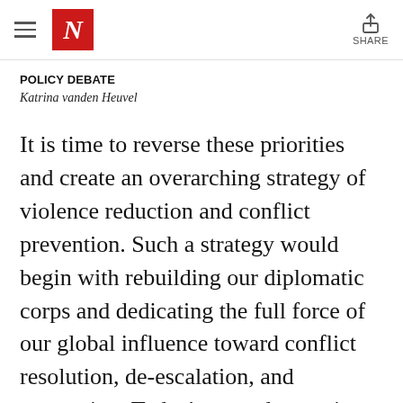The Nation — Navigation header with logo and share button
POLICY DEBATE
Katrina vanden Heuvel
It is time to reverse these priorities and create an overarching strategy of violence reduction and conflict prevention. Such a strategy would begin with rebuilding our diplomatic corps and dedicating the full force of our global influence toward conflict resolution, de-escalation, and prevention. Today's most destructive humanitarian crises are political—think Yemen, Syria, South Sudan, the Democratic Republic of Congo—and beyond that, the solutions to...